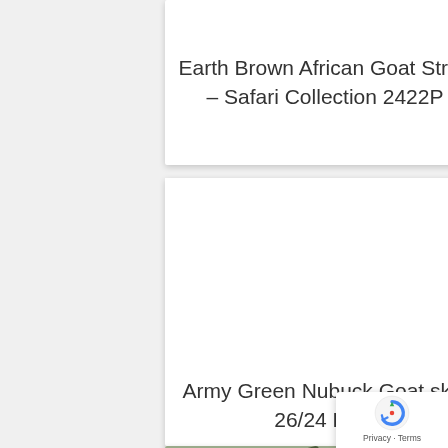Earth Brown African Goat Strap – Safari Collection 2422P
Army Green Nubuck Goat skin 26/24 Pam
[Figure (photo): Partial view of an army green nubuck goat skin watch strap with visible buckle hardware, photographed on a gray textured surface]
[Figure (logo): Google reCAPTCHA badge with Privacy and Terms links]